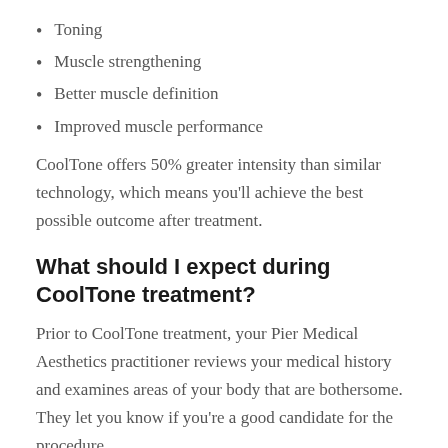Toning
Muscle strengthening
Better muscle definition
Improved muscle performance
CoolTone offers 50% greater intensity than similar technology, which means you'll achieve the best possible outcome after treatment.
What should I expect during CoolTone treatment?
Prior to CoolTone treatment, your Pier Medical Aesthetics practitioner reviews your medical history and examines areas of your body that are bothersome. They let you know if you're a good candidate for the procedure.
During treatment, you lie on a comfortable table while your aesthetic specialist applies a handheld CoolTone